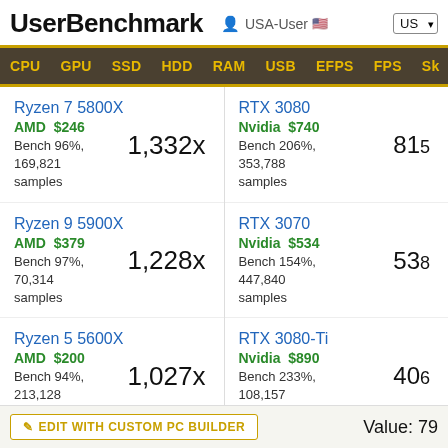UserBenchmark — USA-User — US
CPU GPU SSD HDD RAM USB EFPS FPS Sk
Ryzen 7 5800X
AMD $246
Bench 96%, 169,821 samples
1,332x
RTX 3080
Nvidia $740
Bench 206%, 353,788 samples
815
Ryzen 9 5900X
AMD $379
Bench 97%, 70,314 samples
1,228x
RTX 3070
Nvidia $534
Bench 154%, 447,840 samples
538
Ryzen 5 5600X
AMD $200
Bench 94%, 213,128 samples
1,027x
RTX 3080-Ti
Nvidia $890
Bench 233%, 108,157 samples
406
EDIT WITH CUSTOM PC BUILDER    Value: 79